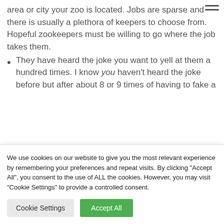area or city your zoo is located. Jobs are sparse and there is usually a plethora of keepers to choose from. Hopeful zookeepers must be willing to go where the job takes them.
They have heard the joke you want to yell at them a hundred times. I know you haven't heard the joke before but after about 8 or 9 times of having to fake a
We use cookies on our website to give you the most relevant experience by remembering your preferences and repeat visits. By clicking "Accept All", you consent to the use of ALL the cookies. However, you may visit "Cookie Settings" to provide a controlled consent.